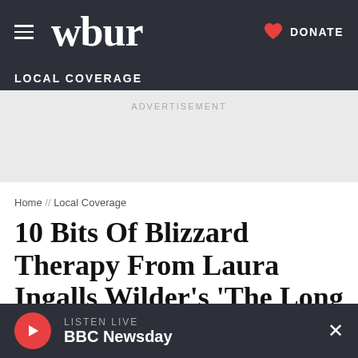[Figure (logo): WBUR navigation bar with hamburger menu, wbur logo, heart icon and DONATE button on dark background]
LOCAL COVERAGE
ADVERTISEMENT
Home // Local Coverage
10 Bits Of Blizzard Therapy From Laura Ingalls Wilder's 'The Long Winter'
LISTEN LIVE BBC Newsday